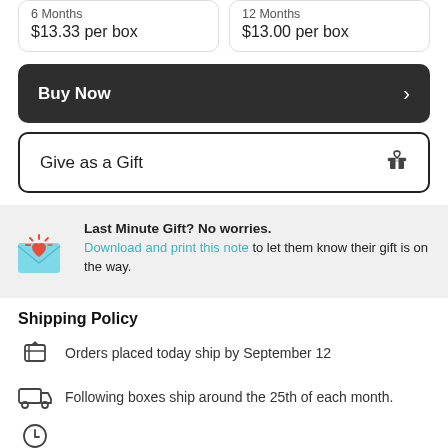6 Months
$13.33 per box
12 Months
$13.00 per box
Buy Now
Give as a Gift
Last Minute Gift? No worries. Download and print this note to let them know their gift is on the way.
Shipping Policy
Orders placed today ship by September 12
Following boxes ship around the 25th of each month.